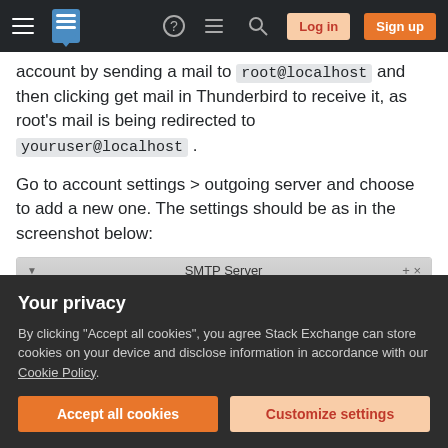Stack Exchange navigation bar with hamburger menu, logo, help, chat, search icons, Log in and Sign up buttons
account by sending a mail to root@localhost and then clicking get mail in Thunderbird to receive it, as root's mail is being redirected to youruser@localhost .
Go to account settings > outgoing server and choose to add a new one. The settings should be as in the screenshot below:
[Figure (screenshot): SMTP Server settings dialog showing Settings section with Description field containing 'localhost']
Your privacy
By clicking "Accept all cookies", you agree Stack Exchange can store cookies on your device and disclose information in accordance with our Cookie Policy.
Accept all cookies | Customize settings